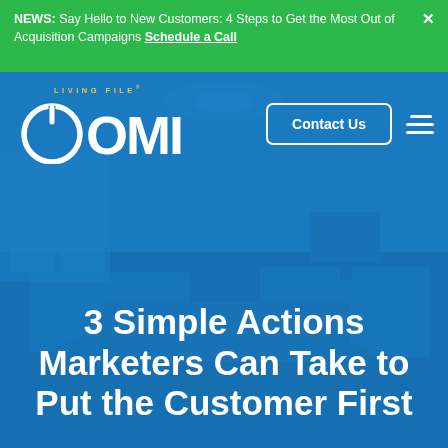NEWS: Say Hello to New Customers: 4 Steps to Get the Most Out of Acquisition Campaigns Schedule a Call
[Figure (logo): OMI Living File logo — white power-button icon with large OMI text, yellow LIVING FILE text above]
Contact Us
3 Simple Actions Marketers Can Take to Put the Customer First